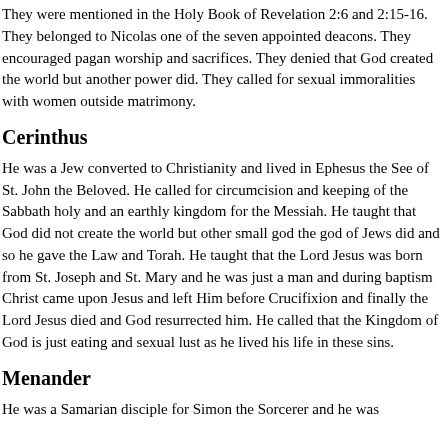They were mentioned in the Holy Book of Revelation 2:6 and 2:15-16. They belonged to Nicolas one of the seven appointed deacons. They encouraged pagan worship and sacrifices. They denied that God created the world but another power did. They called for sexual immoralities with women outside matrimony.
Cerinthus
He was a Jew converted to Christianity and lived in Ephesus the See of St. John the Beloved. He called for circumcision and keeping of the Sabbath holy and an earthly kingdom for the Messiah. He taught that God did not create the world but other small god the god of Jews did and so he gave the Law and Torah. He taught that the Lord Jesus was born from St. Joseph and St. Mary and he was just a man and during baptism Christ came upon Jesus and left Him before Crucifixion and finally the Lord Jesus died and God resurrected him. He called that the Kingdom of God is just eating and sexual lust as he lived his life in these sins.
Menander
He was a Samarian disciple for Simon the Sorcerer and he was